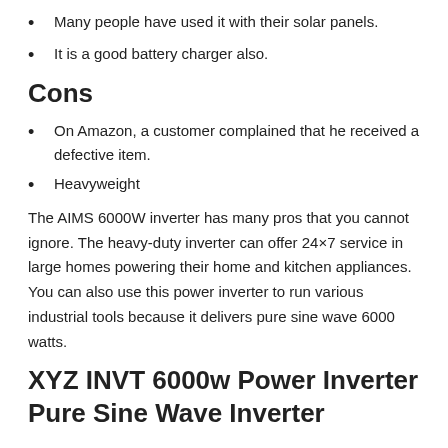Many people have used it with their solar panels.
It is a good battery charger also.
Cons
On Amazon, a customer complained that he received a defective item.
Heavyweight
The AIMS 6000W inverter has many pros that you cannot ignore. The heavy-duty inverter can offer 24×7 service in large homes powering their home and kitchen appliances. You can also use this power inverter to run various industrial tools because it delivers pure sine wave 6000 watts.
XYZ INVT 6000w Power Inverter Pure Sine Wave Inverter